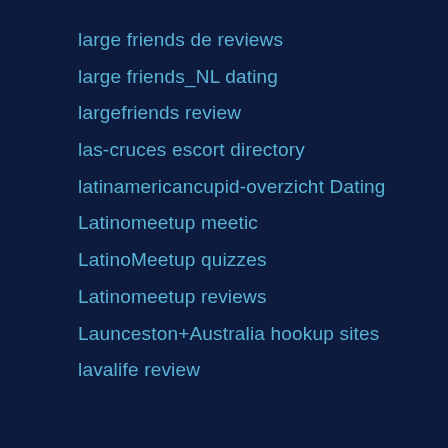large friends de reviews
large friends_NL dating
largefriends review
las-cruces escort directory
latinamericancupid-overzicht Dating
Latinomeetup meetic
LatinoMeetup quizzes
Latinomeetup reviews
Launceston+Australia hookup sites
lavalife review